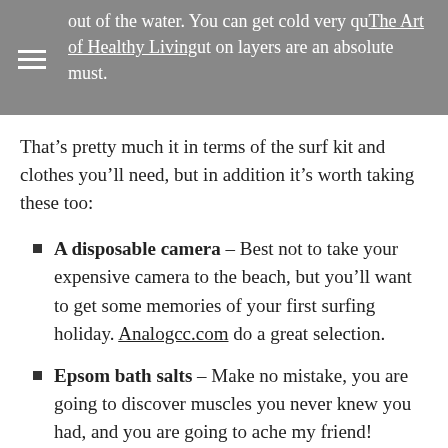out of the water. You can get cold very quickly once you're out but on layers are an absolute must. | The Art of Healthy Living
That’s pretty much it in terms of the surf kit and clothes you’ll need, but in addition it’s worth taking these too:
A disposable camera – Best not to take your expensive camera to the beach, but you’ll want to get some memories of your first surfing holiday. Analogcc.com do a great selection.
Epsom bath salts – Make no mistake, you are going to discover muscles you never knew you had, and you are going to ache my friend!